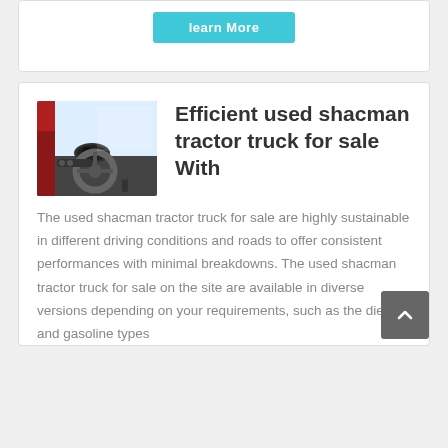[Figure (other): Cyan/teal 'learn More' button on white card background]
[Figure (photo): Interior photo of a shacman tractor truck showing steering wheel and dashboard, red cabin visible]
Efficient used shacman tractor truck for sale With
The used shacman tractor truck for sale are highly sustainable in different driving conditions and roads to offer consistent performances with minimal breakdowns. The used shacman tractor truck for sale on the site are available in diverse versions depending on your requirements, such as the diesel and gasoline types